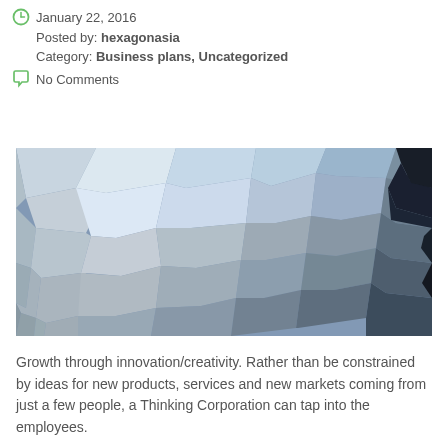January 22, 2016
Posted by: hexagonasia
Category: Business plans, Uncategorized
No Comments
[Figure (illustration): Abstract polygonal mosaic illustration with hexagonal/voronoi shapes in various shades of blue, grey, white, and near-black, creating a low-poly geometric pattern.]
Growth through innovation/creativity. Rather than be constrained by ideas for new products, services and new markets coming from just a few people, a Thinking Corporation can tap into the employees.